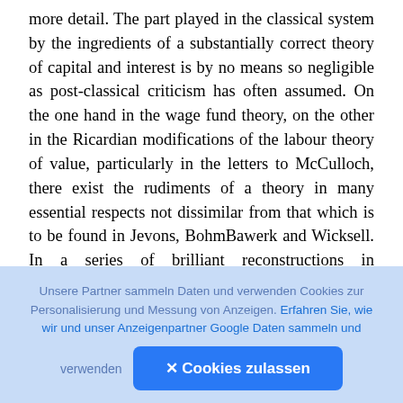more detail. The part played in the classical system by the ingredients of a substantially correct theory of capital and interest is by no means so negligible as post-classical criticism has often assumed. On the one hand in the wage fund theory, on the other in the Ricardian modifications of the labour theory of value, particularly in the letters to McCulloch, there exist the rudiments of a theory in many essential respects not dissimilar from that which is to be found in Jevons, BohmBawerk and Wicksell. In a series of brilliant reconstructions in Finanztheoretische Untersuchungen and elsewhere, Wicksell himself indicated the significance of certain aspects of the classical
Unsere Partner sammeln Daten und verwenden Cookies zur Personalisierung und Messung von Anzeigen. Erfahren Sie, wie wir und unser Anzeigenpartner Google Daten sammeln und verwenden